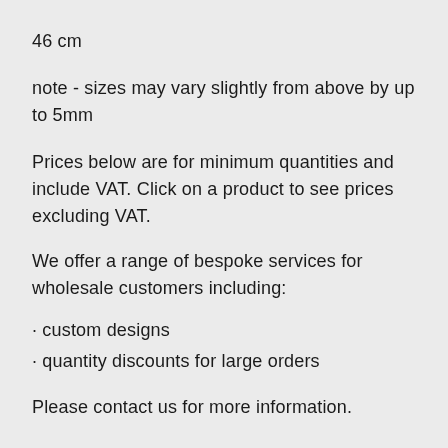46 cm
note - sizes may vary slightly from above by up to 5mm
Prices below are for minimum quantities and include VAT. Click on a product to see prices excluding VAT.
We offer a range of bespoke services for wholesale customers including:
· custom designs
· quantity discounts for large orders
Please contact us for more information.